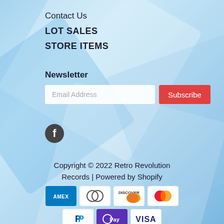Contact Us
LOT SALES
STORE ITEMS
Newsletter
Email Address [input] Subscribe [button]
[Figure (logo): Facebook icon - dark circle with white f logo]
Copyright © 2022 Retro Revolution Records | Powered by Shopify
[Figure (infographic): Payment method icons: American Express, Diners Club, Discover, Mastercard, PayPal, Apple Pay / D Pay, Visa]